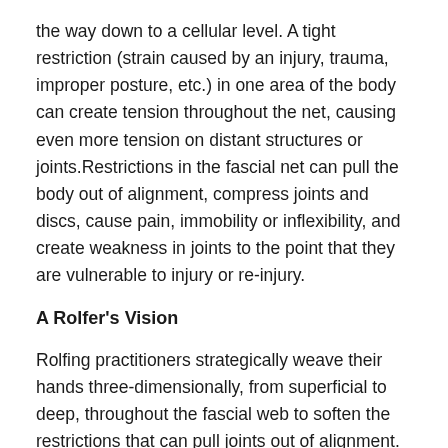the way down to a cellular level. A tight restriction (strain caused by an injury, trauma, improper posture, etc.) in one area of the body can create tension throughout the net, causing even more tension on distant structures or joints.Restrictions in the fascial net can pull the body out of alignment, compress joints and discs, cause pain, immobility or inflexibility, and create weakness in joints to the point that they are vulnerable to injury or re-injury.
A Rolfer's Vision
Rolfing practitioners strategically weave their hands three-dimensionally, from superficial to deep, throughout the fascial web to soften the restrictions that can pull joints out of alignment. Rolfing Structural Integration seeks to rebalance the body's structure by gently sculpting the soft tissues that pull on bones and joints throughout the entire